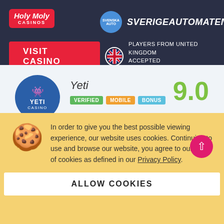[Figure (logo): Holy Moly Casinos logo - red rounded rectangle with italic white text]
[Figure (logo): Sverigeautomaten logo - blue circle with site icon and bold italic white text SVERIGEAUTOMATEN]
VISIT CASINO
PLAYERS FROM UNITED KINGDOM ACCEPTED T&C APPLY, 18+ ONLY
[Figure (logo): Yeti Casino circular logo - dark blue circle with yeti icon and YETI CASINO text]
Yeti
VERIFIED   MOBILE   BONUS
9.0
First Deposit Bonus
100% up to €333
T&C APPLY, 18+ ONLY
LISENCES: MALTA, UK
In order to give you the best possible viewing experience, our website uses cookies. Continuing to use and browse our website, you agree to our use of cookies as defined in our Privacy Policy.
ALLOW COOKIES